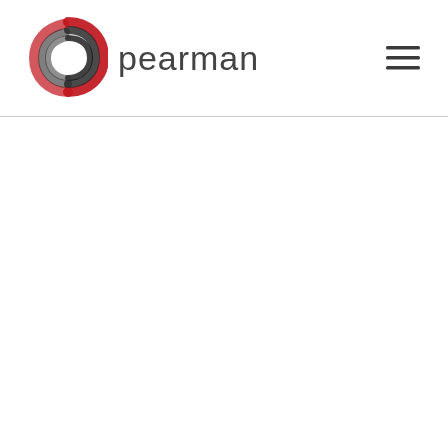[Figure (logo): Pearman logo: circular swirl icon in red, dark gray, and black, followed by the word 'pearman' in light gray sans-serif text]
[Figure (other): Hamburger menu icon with three horizontal dark lines]